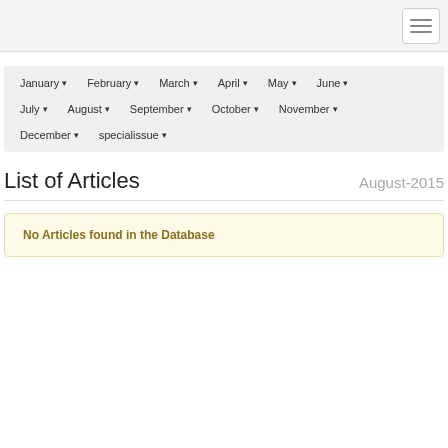January ▾  February ▾  March ▾  April ▾  May ▾  June ▾  July ▾  August ▾  September ▾  October ▾  November ▾  December ▾  specialissue ▾
List of Articles
August-2015
No Articles found in the Database